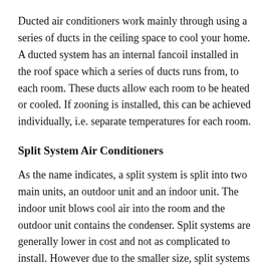Ducted air conditioners work mainly through using a series of ducts in the ceiling space to cool your home. A ducted system has an internal fancoil installed in the roof space which a series of ducts runs from, to each room. These ducts allow each room to be heated or cooled. If zooning is installed, this can be achieved individually, i.e. separate temperatures for each room.
Split System Air Conditioners
As the name indicates, a split system is split into two main units, an outdoor unit and an indoor unit. The indoor unit blows cool air into the room and the outdoor unit contains the condenser. Split systems are generally lower in cost and not as complicated to install. However due to the smaller size, split systems usually suit heating or cooling for one room only.
Choosing between a ducted air conditioning system and